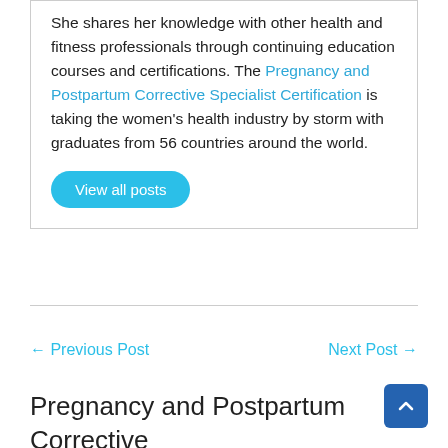She shares her knowledge with other health and fitness professionals through continuing education courses and certifications. The Pregnancy and Postpartum Corrective Specialist Certification is taking the women's health industry by storm with graduates from 56 countries around the world.
View all posts
← Previous Post
Next Post →
Pregnancy and Postpartum Corrective Exercise Specialist Certification